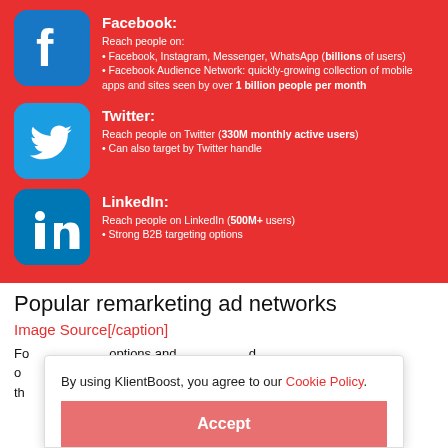[Figure (infographic): Red background infographic showing three social media platforms: Facebook, Twitter, LinkedIn with icons and descriptions]
Facebook: Reach people on: • Facebook, Instagram, Messenger, WhatsApp (billions of users) • Facebook Audience Network: quickly-growing collection of mobile apps and sites seen by over 1 billion people per month
Twitter: Reach people on Twitter (330M monthly active users) • Can also target by Twitter handle
LinkedIn: Reach people on LinkedIn (500M+ users) • Strong B2B targeting options
Popular remarketing ad networks
Image Source[/caption]
For remarketing advertising you need to...
By using KlientBoost, you agree to our Cookie Policy.
Accept